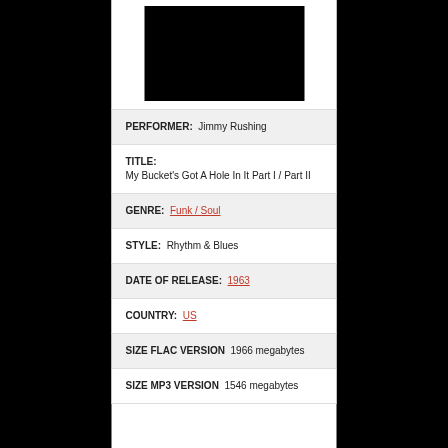[Figure (photo): Black album cover image]
PERFORMER:  Jimmy Rushing
TITLE:
My Bucket's Got A Hole In It Part I / Part II
GENRE:  Funk / Soul
STYLE:  Rhythm & Blues
DATE OF RELEASE:  1963
COUNTRY:  US
SIZE FLAC VERSION  1966 megabytes
SIZE MP3 VERSION  1546 megabytes